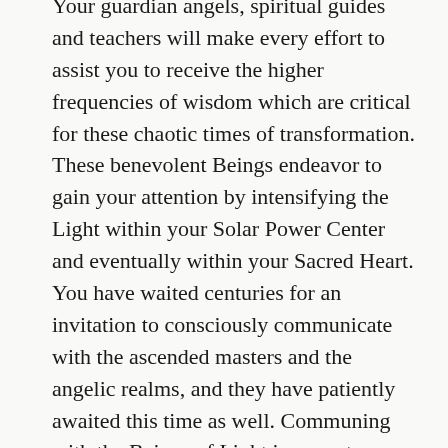Your guardian angels, spiritual guides and teachers will make every effort to assist you to receive the higher frequencies of wisdom which are critical for these chaotic times of transformation. These benevolent Beings endeavor to gain your attention by intensifying the Light within your Solar Power Center and eventually within your Sacred Heart. You have waited centuries for an invitation to consciously communicate with the ascended masters and the angelic realms, and they have patiently awaited this time as well. Communing with the Beings of Light is a great evolutionary step for you, as human Beings, for it quickly facilitates a new conscious awareness and a powerful transformation within you.
Most likely, you will first connect with, and learn to interact and communicate with your personal guides, or sometimes, your master teacher will quickly